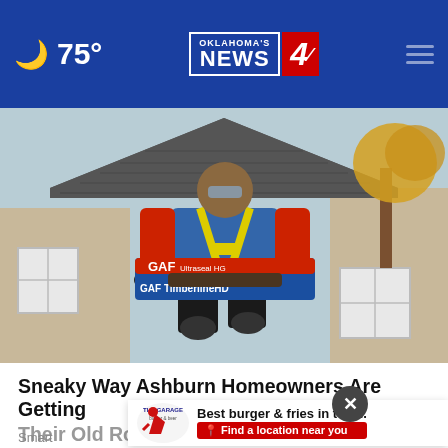🌙 75° — Oklahoma's News 4 — Navigation menu
[Figure (photo): A roofing worker in a blue t-shirt and red sleeves carrying a GAF Timberline HD shingle package on a residential roof, with yellow safety harness, knee pads, and autumn trees visible in the background]
Sneaky Way Ashburn Homeowners Are Getting Their Old Roof Replaced
Smart
[Figure (logo): The Garage Burger & Beer restaurant logo — a stylized red delivery man graphic with the text 'THE GARAGE' and 'burger & beer']
Best burger & fries in town. Find a location near you